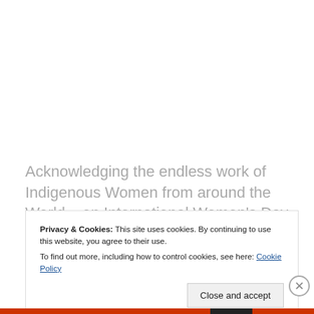Acknowledging the endless work of Indigenous Women from around the World – on International Women's Day. – F.A.I.R.
[Figure (other): Broken image placeholder icon at top of image region, with horizontal rule separator above]
Privacy & Cookies: This site uses cookies. By continuing to use this website, you agree to their use.
To find out more, including how to control cookies, see here: Cookie Policy
Close and accept